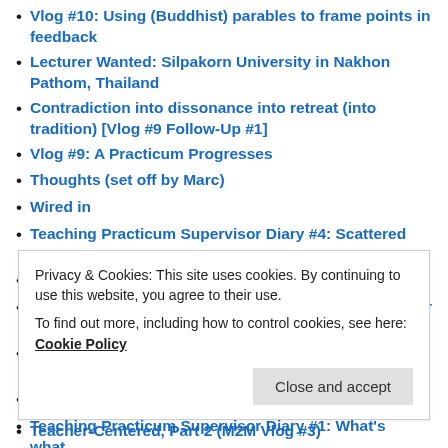Vlog #10: Using (Buddhist) parables to frame points in feedback
Lecturer Wanted: Silpakorn University in Nakhon Pathom, Thailand
Contradiction into dissonance into retreat (into tradition) [Vlog #9 Follow-Up #1]
Vlog #9: A Practicum Progresses
Thoughts (set off by Marc)
Wired in
Teaching Practicum Supervisor Diary #4: Scattered notes
Vlog #8: update from the air conditioner
Teaching Practicum Supervisor Diary #3: state us your status (a vlog re: what I'm doing right now)
Teaching Practicum Supervisor Diary #2: Something that keeps popping up…
Some notes on a note…
Teaching Practicum Supervisor Diary #1: What's what…
Privacy & Cookies: This site uses cookies. By continuing to use this website, you agree to their use.
To find out more, including how to control cookies, see here: Cookie Policy
Teacher-Centered, Part 2 (M2M Vlog #3)